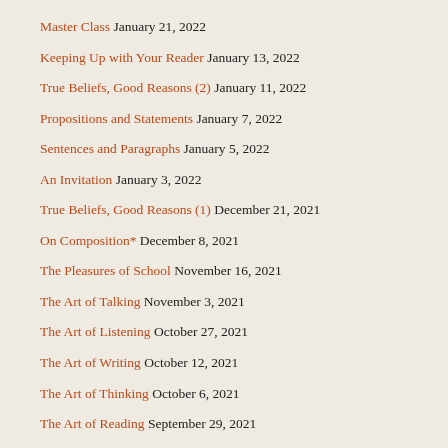Master Class January 21, 2022
Keeping Up with Your Reader January 13, 2022
True Beliefs, Good Reasons (2) January 11, 2022
Propositions and Statements January 7, 2022
Sentences and Paragraphs January 5, 2022
An Invitation January 3, 2022
True Beliefs, Good Reasons (1) December 21, 2021
On Composition* December 8, 2021
The Pleasures of School November 16, 2021
The Art of Talking November 3, 2021
The Art of Listening October 27, 2021
The Art of Writing October 12, 2021
The Art of Thinking October 6, 2021
The Art of Reading September 29, 2021
The Art of Learning September 22, 2021